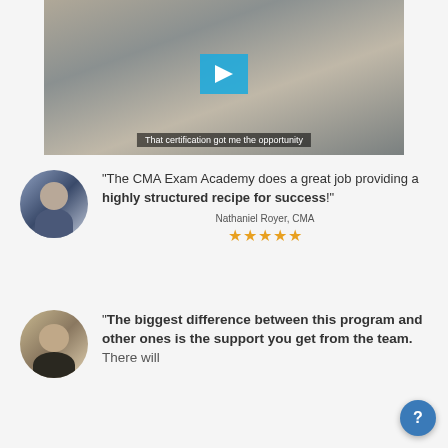[Figure (screenshot): Video player screenshot showing a man in a white shirt wearing a headset, sitting at a desk. A blue play button overlay is visible in the center. Subtitle text reads 'That certification got me the opportunity'.]
"The CMA Exam Academy does a great job providing a highly structured recipe for success!"
Nathaniel Royer, CMA ★★★★★
"The biggest difference between this program and other ones is the support you get from the team. There will